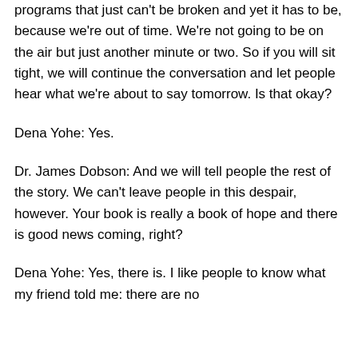programs that just can't be broken and yet it has to be, because we're out of time. We're not going to be on the air but just another minute or two. So if you will sit tight, we will continue the conversation and let people hear what we're about to say tomorrow. Is that okay?
Dena Yohe: Yes.
Dr. James Dobson: And we will tell people the rest of the story. We can't leave people in this despair, however. Your book is really a book of hope and there is good news coming, right?
Dena Yohe: Yes, there is. I like people to know what my friend told me: there are no